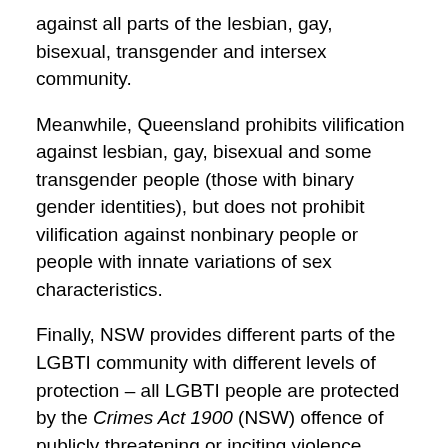against all parts of the lesbian, gay, bisexual, transgender and intersex community.
Meanwhile, Queensland prohibits vilification against lesbian, gay, bisexual and some transgender people (those with binary gender identities), but does not prohibit vilification against nonbinary people or people with innate variations of sex characteristics.
Finally, NSW provides different parts of the LGBTI community with different levels of protection – all LGBTI people are protected by the Crimes Act 1900 (NSW) offence of publicly threatening or inciting violence (section 93Z), but only lesbian, gay and some transgender people (those with binary gender identities) are able to access civil anti-vilification protections under the Anti-Discrimination Act 1977 (NSW).